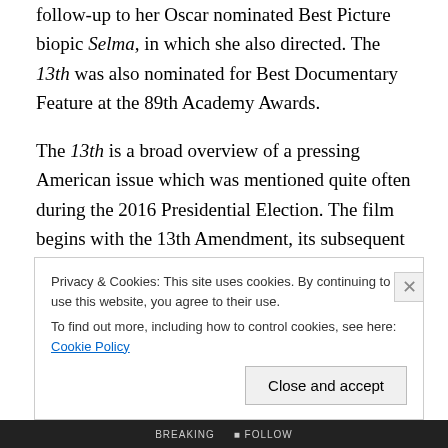follow-up to her Oscar nominated Best Picture biopic Selma, in which she also directed. The 13th was also nominated for Best Documentary Feature at the 89th Academy Awards.
The 13th is a broad overview of a pressing American issue which was mentioned quite often during the 2016 Presidential Election. The film begins with the 13th Amendment, its subsequent abolition of slavery and covers the next 100 years including the Jim Crow laws, segregation, the Civil Rights movement, and the Black
Privacy & Cookies: This site uses cookies. By continuing to use this website, you agree to their use.
To find out more, including how to control cookies, see here: Cookie Policy